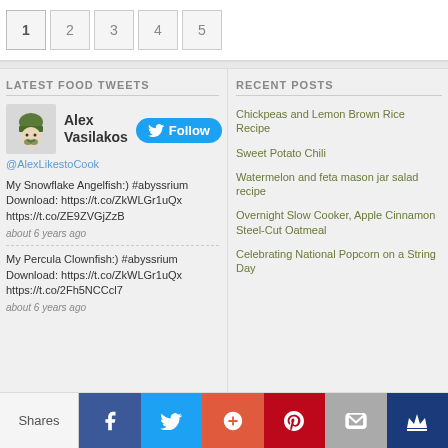1 2 3 4 5 (pagination)
LATEST FOOD TWEETS
Alex Vasilakos @AlexLikestoCook
My Snowflake Angelfish:) #abyssrium Download: https://t.co/ZkWLGr1uQx https://t.co/ZE9ZVGjZzB about 6 years ago
My Percula Clownfish:) #abyssrium Download: https://t.co/ZkWLGr1uQx https://t.co/2Fh5NCCcl7 about 6 years ago
RECENT POSTS
Chickpeas and Lemon Brown Rice Recipe
Sweet Potato Chili
Watermelon and feta mason jar salad recipe
Overnight Slow Cooker, Apple Cinnamon Steel-Cut Oatmeal
Celebrating National Popcorn on a String Day
Shares